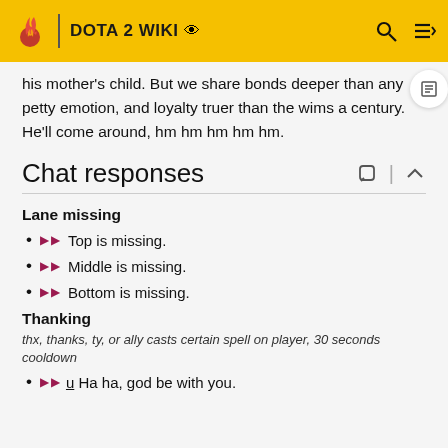DOTA 2 WIKI
his mother's child. But we share bonds deeper than any petty emotion, and loyalty truer than the wims a century. He'll come around, hm hm hm hm hm.
Chat responses
Lane missing
Top is missing.
Middle is missing.
Bottom is missing.
Thanking
thx, thanks, ty, or ally casts certain spell on player, 30 seconds cooldown
u Ha ha, god be with you.